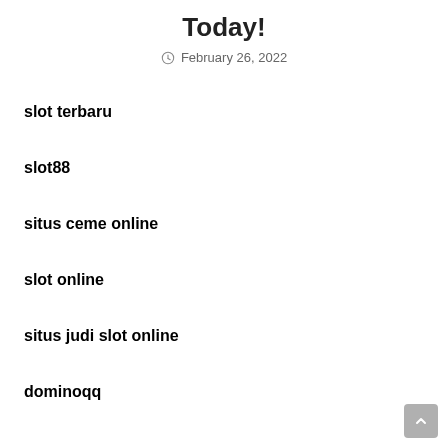Today!
February 26, 2022
slot terbaru
slot88
situs ceme online
slot online
situs judi slot online
dominoqq